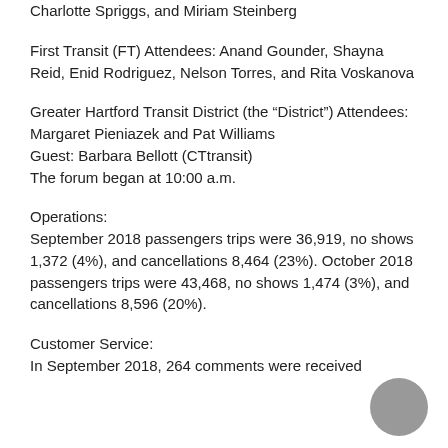Charlotte Spriggs, and Miriam Steinberg
First Transit (FT) Attendees: Anand Gounder, Shayna Reid, Enid Rodriguez, Nelson Torres, and Rita Voskanova
Greater Hartford Transit District (the “District”) Attendees: Margaret Pieniazek and Pat Williams
Guest: Barbara Bellott (CTtransit)
The forum began at 10:00 a.m.
Operations:
September 2018 passengers trips were 36,919, no shows 1,372 (4%), and cancellations 8,464 (23%). October 2018 passengers trips were 43,468, no shows 1,474 (3%), and cancellations 8,596 (20%).
Customer Service:
In September 2018, 264 comments were received